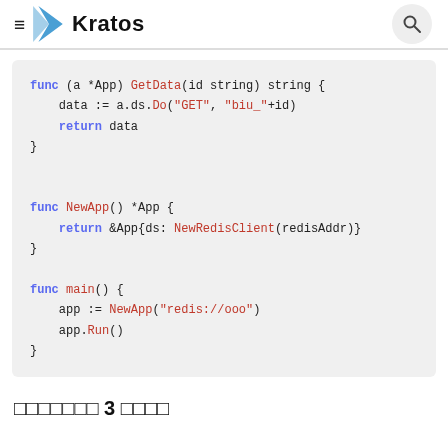Kratos
[Figure (screenshot): Code block showing Go functions: GetData, NewApp, and main with Redis client usage]
日本語テキスト 3 のような